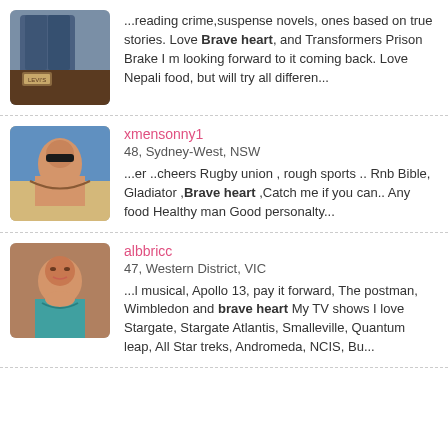[Figure (photo): Profile photo showing jeans/clothing item on a stool]
...reading crime,suspense novels, ones based on true stories. Love Brave heart, and Transformers Prison Brake I m looking forward to it coming back. Love Nepali food, but will try all differen...
[Figure (photo): Profile photo of a man with sunglasses lying on sand at a beach]
xmensonny1
48, Sydney-West, NSW
...er ..cheers Rugby union , rough sports .. Rnb Bible, Gladiator ,Brave heart ,Catch me if you can.. Any food Healthy man Good personalty...
[Figure (photo): Profile photo of a middle-aged man smiling, wearing a teal/blue shirt]
albbricc
47, Western District, VIC
...l musical, Apollo 13, pay it forward, The postman, Wimbledon and brave heart My TV shows I love Stargate, Stargate Atlantis, Smalleville, Quantum leap, All Star treks, Andromeda, NCIS, Bu...